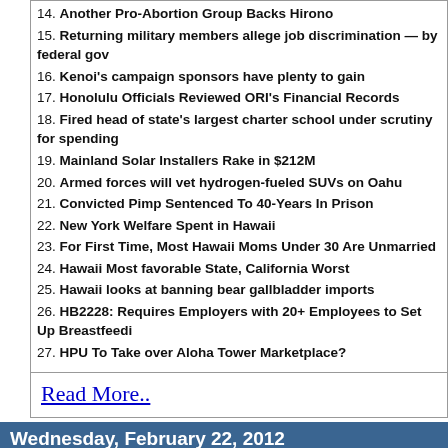14. Another Pro-Abortion Group Backs Hirono
15. Returning military members allege job discrimination — by federal gov
16. Kenoi's campaign sponsors have plenty to gain
17. Honolulu Officials Reviewed ORI's Financial Records
18. Fired head of state's largest charter school under scrutiny for spending
19. Mainland Solar Installers Rake in $212M
20. Armed forces will vet hydrogen-fueled SUVs on Oahu
21. Convicted Pimp Sentenced To 40-Years In Prison
22. New York Welfare Spent in Hawaii
23. For First Time, Most Hawaii Moms Under 30 Are Unmarried
24. Hawaii Most favorable State, California Worst
25. Hawaii looks at banning bear gallbladder imports
26. HB2228: Requires Employers with 20+ Employees to Set Up Breastfeedi
27. HPU To Take over Aloha Tower Marketplace?
Read More..
Wednesday, February 22, 2012
Letters to the Editor February, 2012
By Letters to the Editor @ 12:03 PM :: 12425 Views :: Hawaii County News, Agr
House Bill 1707: "We will be forced to sell"
RTTT: The Chicago Way?
HELCO Plus a Solar Line for a Latest Rate Hike